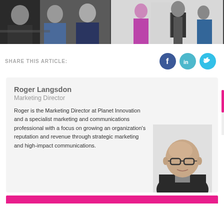[Figure (photo): Two side-by-side photos at top: left shows three men in business attire in an office setting; right shows people with a camera/tripod in a bright workspace.]
SHARE THIS ARTICLE:
[Figure (infographic): Social share icons: Facebook (dark blue circle), LinkedIn (teal circle), Twitter (light blue circle)]
Roger Langsdon
Marketing Director
Roger is the Marketing Director at Planet Innovation and a specialist marketing and communications professional with a focus on growing an organization's reputation and revenue through strategic marketing and high-impact communications.
[Figure (photo): Black and white portrait of Roger Langsdon, a bald man wearing glasses and a dark jacket.]